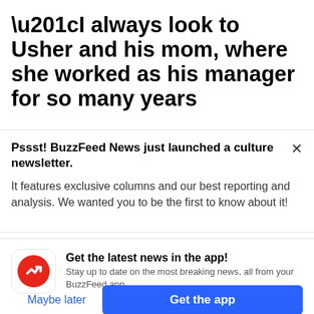“I always look to Usher and his mom, where she worked as his manager for so many years
Pssst! BuzzFeed News just launched a culture newsletter.

It features exclusive columns and our best reporting and analysis. We wanted you to be the first to know about it!
Get the latest news in the app! Stay up to date on the most breaking news, all from your BuzzFeed app.
Maybe later
Get the app